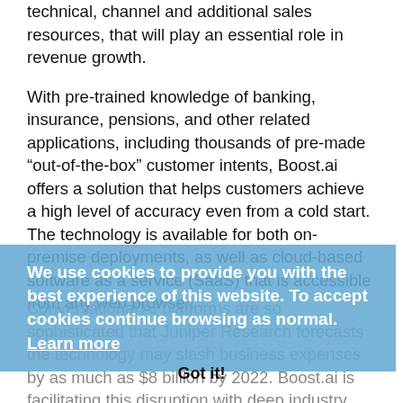technical, channel and additional sales resources, that will play an essential role in revenue growth.
With pre-trained knowledge of banking, insurance, pensions, and other related applications, including thousands of pre-made “out-of-the-box” customer intents, Boost.ai offers a solution that helps customers achieve a high level of accuracy even from a cold start. The technology is available for both on-premise deployments, as well as cloud-based software as a service (SaaS) that is accessible from any web browser.
We use cookies to provide you with the best experience of this website. To accept cookies continue browsing as normal. Learn more
Conversational AI platforms are so sophisticated that Juniper Research forecasts the technology may slash business expenses by as much as $8 billion by 2022. Boost.ai is facilitating this disruption with deep industry and technical knowledge demonstrated with
Got it!